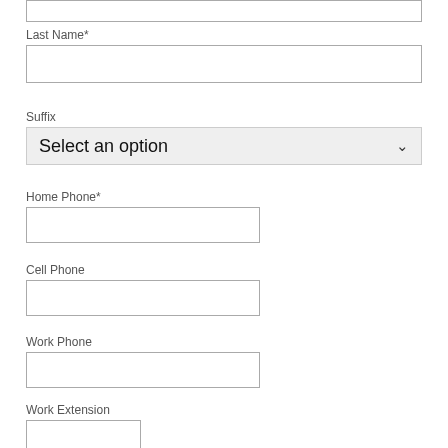Last Name*
Suffix
Select an option
Home Phone*
Cell Phone
Work Phone
Work Extension
Email*